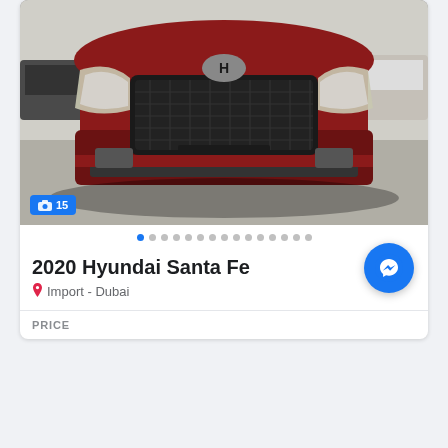[Figure (photo): Front view of a red 2020 Hyundai Santa Fe SUV in a parking lot, showing the grille and headlights]
15
2020 Hyundai Santa Fe
Import - Dubai
PRICE